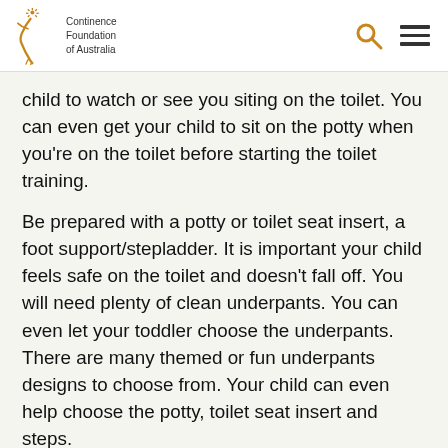Continence Foundation of Australia
child to watch or see you siting on the toilet. You can even get your child to sit on the potty when you're on the toilet before starting the toilet training.
Be prepared with a potty or toilet seat insert, a foot support/stepladder. It is important your child feels safe on the toilet and doesn't fall off. You will need plenty of clean underpants. You can even let your toddler choose the underpants. There are many themed or fun underpants designs to choose from. Your child can even help choose the potty, toilet seat insert and steps.